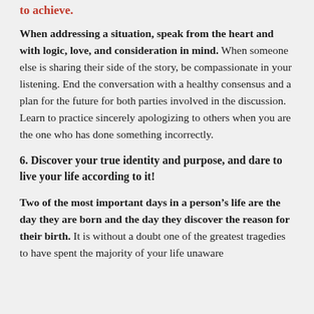to achieve.
When addressing a situation, speak from the heart and with logic, love, and consideration in mind. When someone else is sharing their side of the story, be compassionate in your listening. End the conversation with a healthy consensus and a plan for the future for both parties involved in the discussion. Learn to practice sincerely apologizing to others when you are the one who has done something incorrectly.
6. Discover your true identity and purpose, and dare to live your life according to it!
Two of the most important days in a person’s life are the day they are born and the day they discover the reason for their birth. It is without a doubt one of the greatest tragedies to have spent the majority of your life unaware